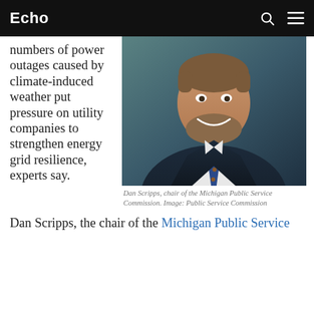Echo
numbers of power outages caused by climate-induced weather put pressure on utility companies to strengthen energy grid resilience, experts say.
[Figure (photo): Portrait photo of Dan Scripps, a man with a beard wearing a dark navy suit and blue patterned tie, smiling against a teal/grey background.]
Dan Scripps, chair of the Michigan Public Service Commission. Image: Public Service Commission
Dan Scripps, the chair of the Michigan Public Service